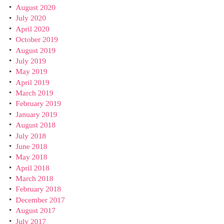August 2020
July 2020
April 2020
October 2019
August 2019
July 2019
May 2019
April 2019
March 2019
February 2019
January 2019
August 2018
July 2018
June 2018
May 2018
April 2018
March 2018
February 2018
December 2017
August 2017
July 2017
May 2017
December 2016
November 2016
October 2016